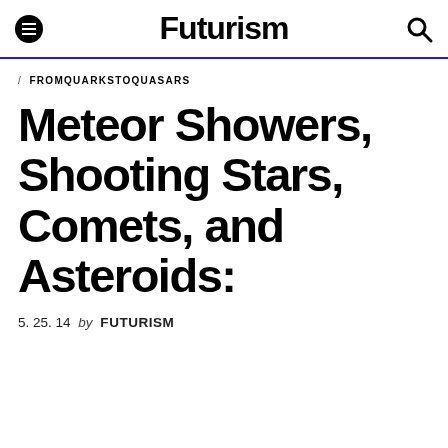Futurism
/ FROMQUARKSTOQUASARS
Meteor Showers, Shooting Stars, Comets, and Asteroids:
5. 25. 14 by FUTURISM